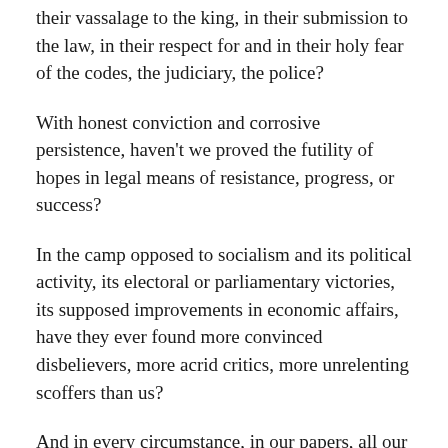their vassalage to the king, in their submission to the law, in their respect for and in their holy fear of the codes, the judiciary, the police?
With honest conviction and corrosive persistence, haven't we proved the futility of hopes in legal means of resistance, progress, or success?
In the camp opposed to socialism and its political activity, its electoral or parliamentary victories, its supposed improvements in economic affairs, have they ever found more convinced disbelievers, more acrid critics, more unrelenting scoffers than us?
And in every circumstance, in our papers, all our lectures, in our meetings shaking with empty stomachs or ill contained passions, haven't we underlined a